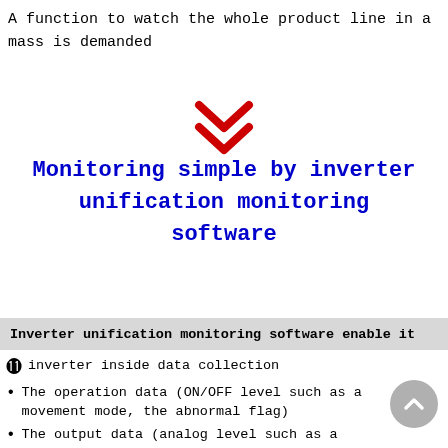A function to watch the whole product line in a mass is demanded
[Figure (illustration): Red double chevron/down-arrow icon]
Monitoring simple by inverter unification monitoring software
Inverter unification monitoring software enable it
inverter inside data collection
The operation data (ON/OFF level such as a movement mode, the abnormal flag)
The output data (analog level such as a frequency, torque, the voltage, on electric